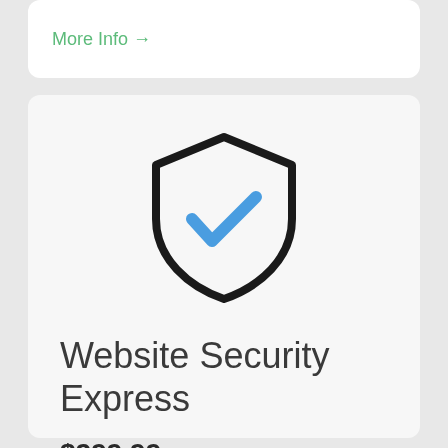More Info →
[Figure (illustration): Shield icon with a blue checkmark inside, outlined in black]
Website Security Express
$299.99 / per year
Add to cart